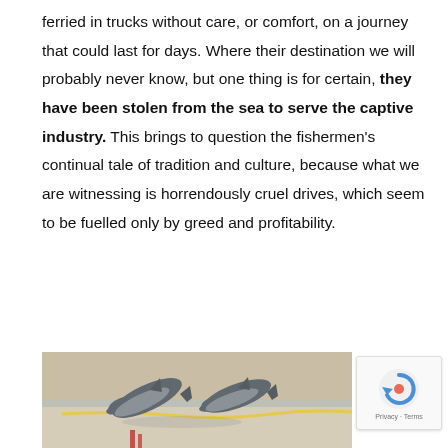ferried in trucks without care, or comfort, on a journey that could last for days. Where their destination we will probably never know, but one thing is for certain, they have been stolen from the sea to serve the captive industry. This brings to question the fishermen's continual tale of tradition and culture, because what we are witnessing is horrendously cruel drives, which seem to be fuelled only by greed and profitability.
[Figure (photo): Photograph of dolphins at what appears to be a captive marine facility or pool, with tiled surroundings visible in the background.]